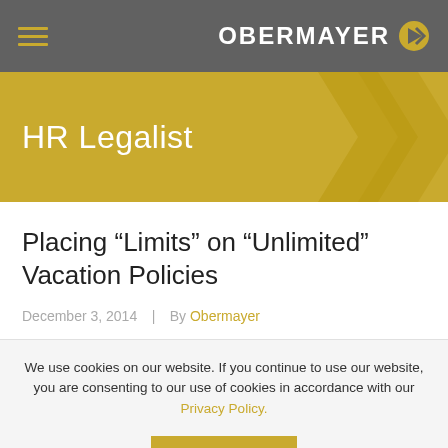OBERMAYER
[Figure (logo): Obermayer logo with yellow circular arrow icon and wordmark on dark gray navigation bar]
HR Legalist
Placing “Limits” on “Unlimited” Vacation Policies
December 3, 2014  |  By Obermayer
We use cookies on our website. If you continue to use our website, you are consenting to our use of cookies in accordance with our Privacy Policy.
ACCEPT